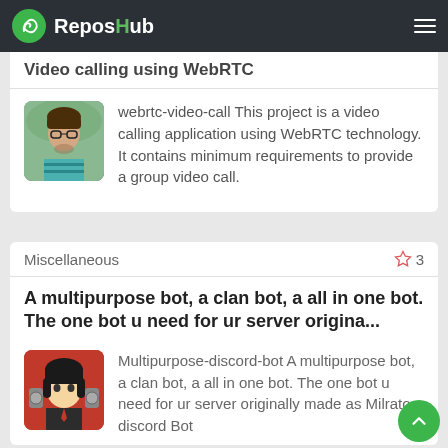ReposHub
Video calling using WebRTC
webrtc-video-call This project is a video calling application using WebRTC technology. It contains minimum requirements to provide a group video call.
Miscellaneous
A multipurpose bot, a clan bot, a all in one bot. The one bot u need for ur server origina...
Multipurpose-discord-bot A multipurpose bot, a clan bot, a all in one bot. The one bot u need for ur server originally made as Milrato discord Bot